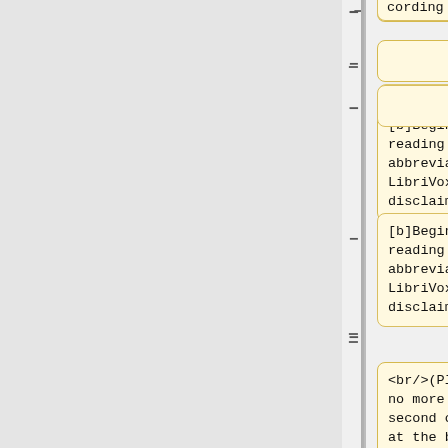cording
[b]Begin your reading with the abbreviated LibriVox disclaimer: [/b]
<br/>(Please leave no more than 0.5-1 second of silence at the beginning of your recording!)
<br/><br/>
[quote] TITLE by AUTHOR, read for LibriVox.org by [your name]. <br/>
[Add, if you wish, date, your location, and/or your personal url.]